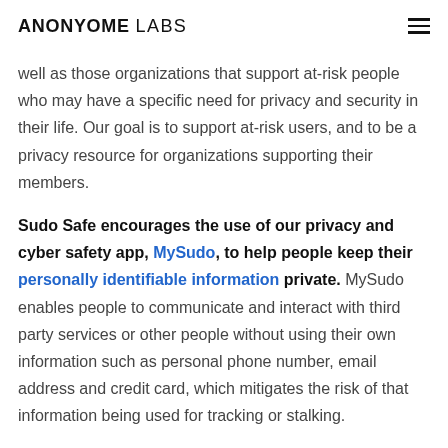ANONYOME LABS
well as those organizations that support at-risk people who may have a specific need for privacy and security in their life. Our goal is to support at-risk users, and to be a privacy resource for organizations supporting their members.
Sudo Safe encourages the use of our privacy and cyber safety app, MySudo, to help people keep their personally identifiable information private. MySudo enables people to communicate and interact with third party services or other people without using their own information such as personal phone number, email address and credit card, which mitigates the risk of that information being used for tracking or stalking.